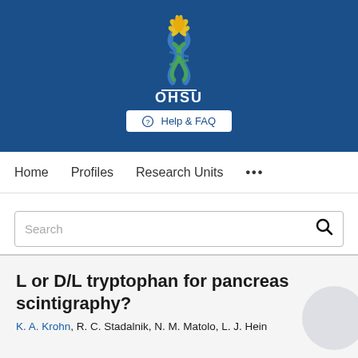[Figure (logo): OHSU (Oregon Health & Science University) logo with blue background, DNA helix graphic in blue and green with yellow/orange flame, white text OHSU and a white underline, plus a Help & FAQ button]
Home   Profiles   Research Units   ...
Search
L or D/L tryptophan for pancreas scintigraphy?
K. A. Krohn, R. C. Stadalnik, N. M. Matolo, L. J. Hein